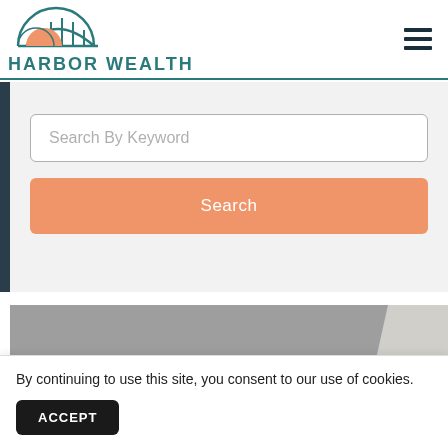[Figure (logo): Harbor Wealth logo with bridge/arch graphic and teal text]
Search By Keyword
Search
[Figure (photo): Partially visible article preview image with grey background]
By continuing to use this site, you consent to our use of cookies.
ACCEPT